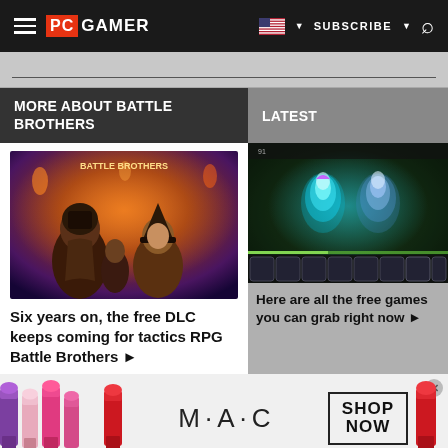PC GAMER — SUBSCRIBE — Search
MORE ABOUT BATTLE BROTHERS
LATEST
[Figure (illustration): Fantasy RPG artwork showing armored warriors with a witch figure in orange/purple dramatic background]
Six years on, the free DLC keeps coming for tactics RPG Battle Brothers ▶
[Figure (screenshot): League of Legends game screenshot showing glowing character skins on a dark green map]
Here are all the free games you can grab right now ▶
[Figure (illustration): MAC cosmetics advertisement showing lipsticks with SHOP NOW button]